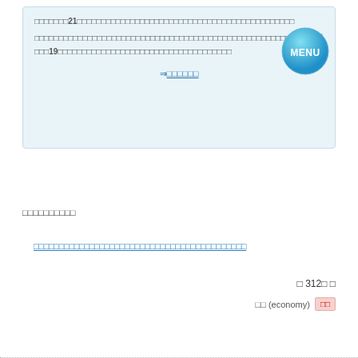□□□□□□□21□□□□□□□□□□□□□□□□□□□□□□□□□□□□□□□□□□□□□□□□□□□□□□□□□□□□□□□□□□□□□□□□□□□□□□□□□□□□□□□□□□□□□□□19□□□□□□□□□□□□□□□□□□□□□□□□□□□□□
⇒□□□□□□
[Figure (illustration): MENU button - blue circular button with white MENU text]
□□□□□□□□□□
□□□□□□□□□□□□□□□□□□□□□□□□□□□□□□□□□□□□□□□□□□
□ 312□ □
□□ (economy)  □□